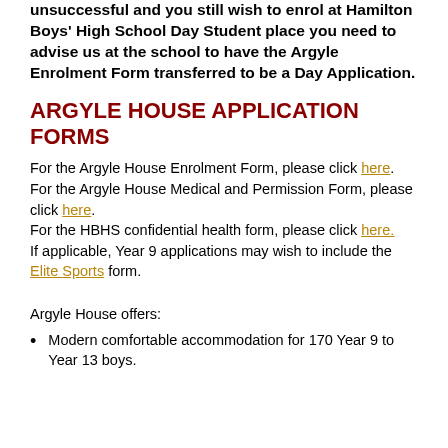unsuccessful and you still wish to enrol at Hamilton Boys' High School Day Student place you need to advise us at the school to have the Argyle Enrolment Form transferred to be a Day Application.
ARGYLE HOUSE APPLICATION FORMS
For the Argyle House Enrolment Form, please click here. For the Argyle House Medical and Permission Form, please click here. For the HBHS confidential health form, please click here. If applicable, Year 9 applications may wish to include the Elite Sports form.
Argyle House offers:
Modern comfortable accommodation for 170 Year 9 to Year 13 boys.